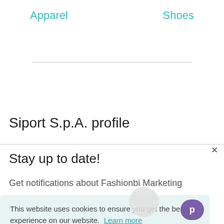Apparel    Shoes
Siport S.p.A. profile
Stay up to date!
Get notifications about Fashionbi Marketing
This website uses cookies to ensure you get the best experience on our website.  Learn more
Got it!